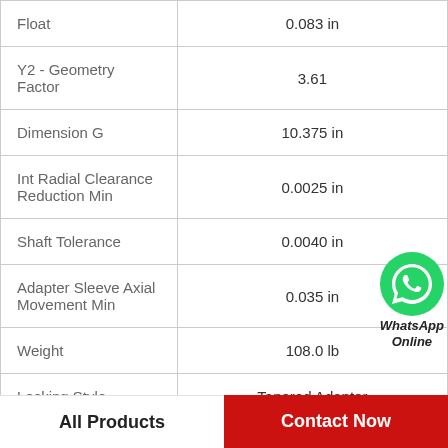| Property | Value |
| --- | --- |
| Float | 0.083 in |
| Y2 - Geometry Factor | 3.61 |
| Dimension G | 10.375 in |
| Int Radial Clearance Reduction Min | 0.0025 in |
| Shaft Tolerance | 0.0040 in |
| Adapter Sleeve Axial Movement Min | 0.035 in |
| Weight | 108.0 lb |
| Locking Style | Tapered Adapter |
[Figure (logo): WhatsApp Online badge with green phone icon]
All Products   Contact Now